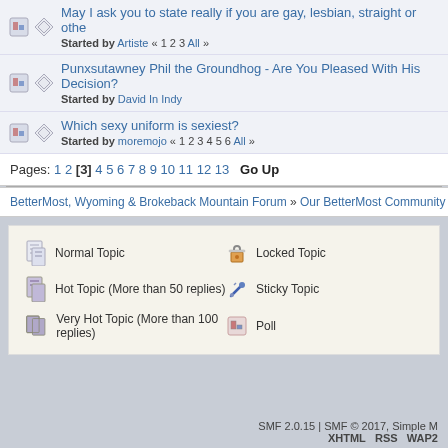May I ask you to state really if you are gay, lesbian, straight or other - Started by Artiste « 1 2 3 All »
Punxsutawney Phil the Groundhog - Are You Pleased With His Decision? - Started by David In Indy
Which sexy uniform is sexiest? - Started by moremojo « 1 2 3 4 5 6 All »
Pages: 1 2 [3] 4 5 6 7 8 9 10 11 12 13   Go Up
BetterMost, Wyoming & Brokeback Mountain Forum » Our BetterMost Community » The
Normal Topic | Hot Topic (More than 50 replies) | Very Hot Topic (More than 100 replies) | Locked Topic | Sticky Topic | Poll
SMF 2.0.15 | SMF © 2017, Simple M   XHTML   RSS   WAP2